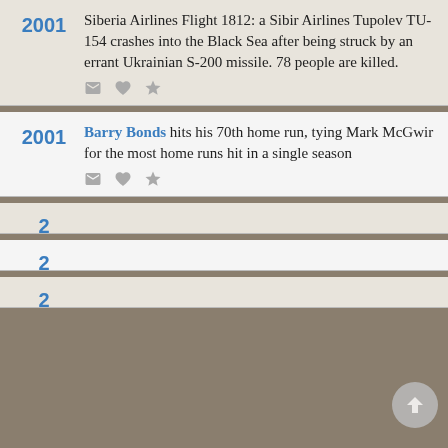2001 — Siberia Airlines Flight 1812: a Sibir Airlines Tupolev TU-154 crashes into the Black Sea after being struck by an errant Ukrainian S-200 missile. 78 people are killed.
2001 — Barry Bonds hits his 70th home run, tying Mark McGwir for the most home runs hit in a single season
We use cookies to understand how you use our site and to improve your experience. This includes personalizing content for you and for the display and tracking of advertising. By continuing to use our site, you accept and agree to our use of cookies. Privacy Policy